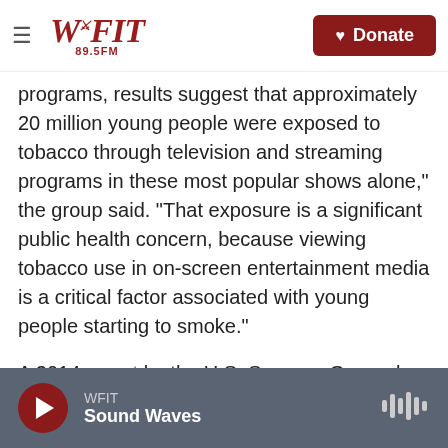WFIT 89.5FM — Donate
programs, results suggest that approximately 20 million young people were exposed to tobacco through television and streaming programs in these most popular shows alone," the group said. "That exposure is a significant public health concern, because viewing tobacco use in on-screen entertainment media is a critical factor associated with young people starting to smoke."
A 2014 report by the U.S. Surgeon General concluded "an R-rating for movies with smoking would avert one million tobacco deaths among today's children and adolescents."
WFIT — Sound Waves